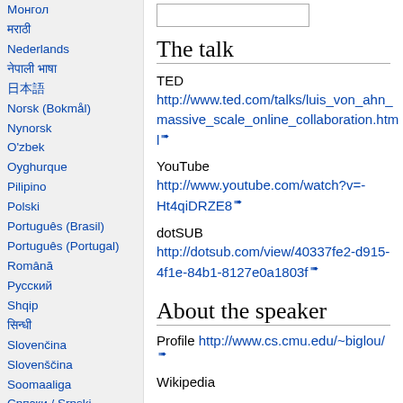Монгол
मराठी
Nederlands
नेपाली भाषा
日本語
Norsk (Bokmål)
Nynorsk
O'zbek
Oyghurque
Pilipino
Polski
Português (Brasil)
Português (Portugal)
Română
Русский
Shqip
सिन्धी
Slovenčina
Slovenščina
Soomaaliga
Српски / Srpski
Suomi
Svenska
The talk
TED
http://www.ted.com/talks/luis_von_ahn_massive_scale_online_collaboration.html
YouTube
http://www.youtube.com/watch?v=-Ht4qiDRZE8
dotSUB
http://dotsub.com/view/40337fe2-d915-4f1e-84b1-8127e0a1803f
About the speaker
Profile http://www.cs.cmu.edu/~biglou/
Wikipedia